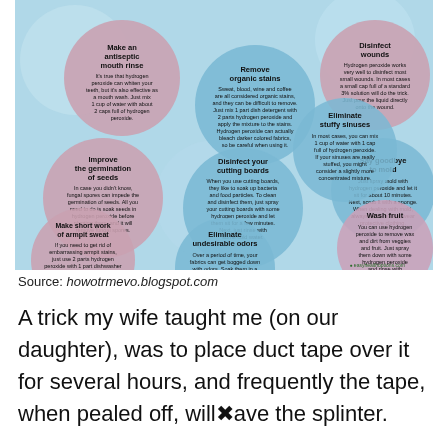[Figure (infographic): Circular bubble infographic showing uses of hydrogen peroxide: Make an antiseptic mouth rinse, Disinfect wounds, Remove organic stains, Say goodbye to mold, Improve the germination of seeds, Disinfect your cutting boards, Eliminate stuffy sinuses, Make short work of armpit sweat, Eliminate undesirable odors, Wash fruit. Source: easyhealthoptions.com]
Source: howotrmevo.blogspot.com
A trick my wife taught me (on our daughter), was to place duct tape over it for several hours, and frequently the tape, when pealed off, will[X]ave the splinter.